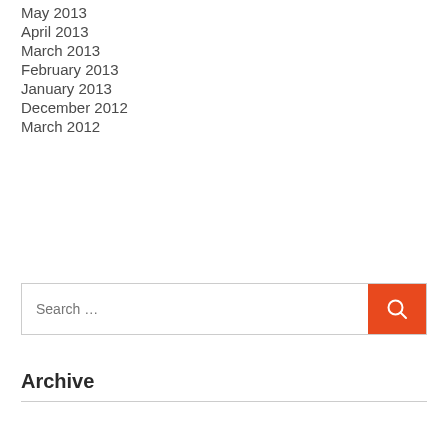May 2013
April 2013
March 2013
February 2013
January 2013
December 2012
March 2012
[Figure (other): Search bar with text input field showing placeholder 'Search ...' and an orange search button with magnifying glass icon]
Archive